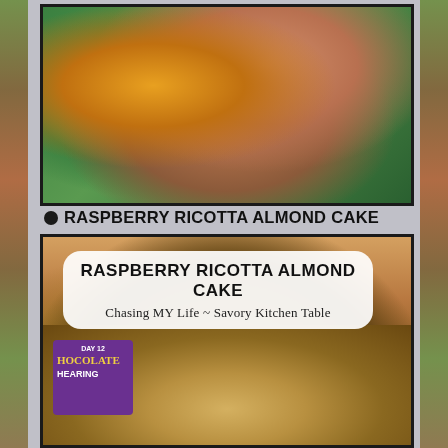[Figure (photo): Close-up photo of a cooked dish with golden/orange cheese or sauce and caramelized pink/red onions on a teal/green plate, with dark mushrooms visible]
RASPBERRY RICOTTA ALMOND CAKE
[Figure (photo): Photo of a Raspberry Ricotta Almond Cake with a white rounded-rectangle overlay banner reading 'RASPBERRY RICOTTA ALMOND CAKE' and 'Chasing MY Life ~ Savory Kitchen Table'. Background shows the cake topped with sliced almonds and raspberries, kitchen mitts, and a purple chocolate/hearing aid advertisement card.]